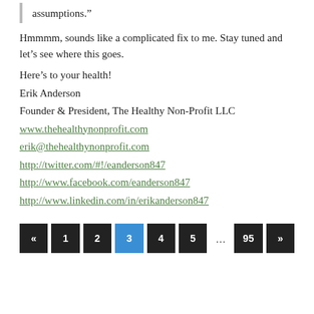assumptions.”
Hmmmm, sounds like a complicated fix to me. Stay tuned and let’s see where this goes.
Here’s to your health!
Erik Anderson
Founder & President, The Healthy Non-Profit LLC
www.thehealthynonprofit.com
erik@thehealthynonprofit.com
http://twitter.com/#!/eanderson847
http://www.facebook.com/eanderson847
http://www.linkedin.com/in/erikanderson847
« 1 2 3 4 5 … 95 »